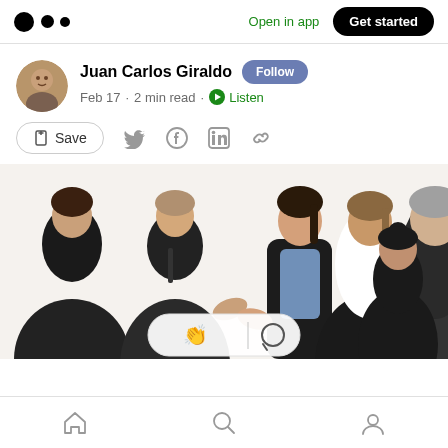Open in app  Get started
Juan Carlos Giraldo  Follow
Feb 17 · 2 min read · Listen
Save
[Figure (photo): Group of business professionals in dark suits, two women in the center shaking hands or standing together, one man on the left, one man on the right with gray hair, one woman with dark hair on the far right]
Home  Search  Profile